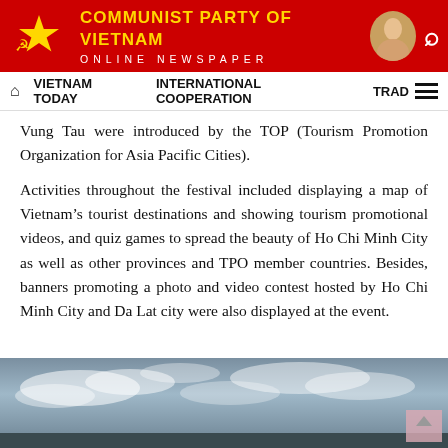COMMUNIST PARTY OF VIETNAM ONLINE NEWSPAPER
VIETNAM TODAY   INTERNATIONAL COOPERATION   TRAD
Vung Tau were introduced by the TOP (Tourism Promotion Organization for Asia Pacific Cities).
Activities throughout the festival included displaying a map of Vietnam's tourist destinations and showing tourism promotional videos, and quiz games to spread the beauty of Ho Chi Minh City as well as other provinces and TPO member countries. Besides, banners promoting a photo and video contest hosted by Ho Chi Minh City and Da Lat city were also displayed at the event.
[Figure (photo): Sky photo with clouds, partially visible at bottom of page]